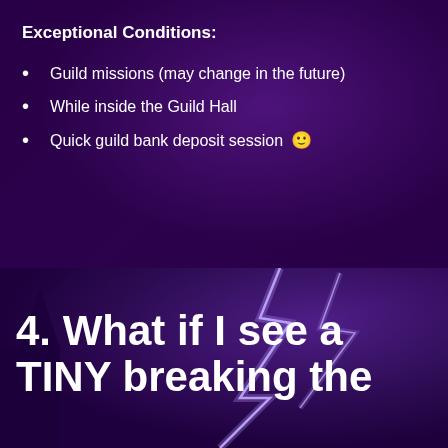Exceptional Conditions:
Guild missions (may change in the future)
While inside the Guild Hall
Quick guild bank deposit session 🙂
[Figure (photo): Dark purple background with a lightning strike scene at night, used as section background]
4. What if I see a TINY breaking the